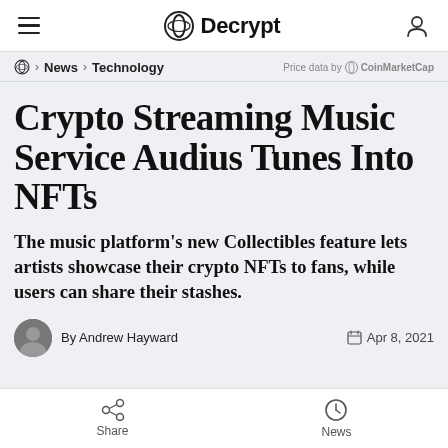Decrypt
News › Technology
Price data by CoinMarketCap
Crypto Streaming Music Service Audius Tunes Into NFTs
The music platform's new Collectibles feature lets artists showcase their crypto NFTs to fans, while users can share their stashes.
By Andrew Hayward
Apr 8, 2021
Share | News